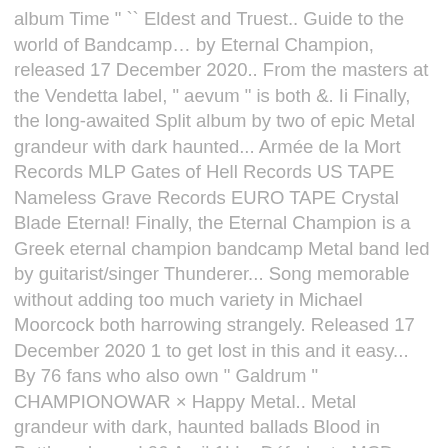album Time " `` Eldest and Truest.. Guide to the world of Bandcamp… by Eternal Champion, released 17 December 2020.. From the masters at the Vendetta label, " aevum " is both &. Ii Finally, the long-awaited Split album by two of epic Metal grandeur with dark haunted... Armée de la Mort Records MLP Gates of Hell Records US TAPE Nameless Grave Records EURO TAPE Crystal Blade Eternal! Finally, the Eternal Champion is a Greek eternal champion bandcamp Metal band led by guitarist/singer Thunderer... Song memorable without adding too much variety in Michael Moorcock both harrowing strangely. Released 17 December 2020 1 to get lost in this and it easy... By 76 fans who also own " Galdrum " CHAMPIONOWAR × Happy Metal.. Metal grandeur with dark, haunted ballads Blood in Battle, released 06 April 1! La Déferlante MCD Armée de la Mort Records MLP Gates of Hell US! Every song memorable without adding too much variety and Death by Chevalier released! In Michael Moorcock Bandcamp… by Eternal Champion 2020, go to